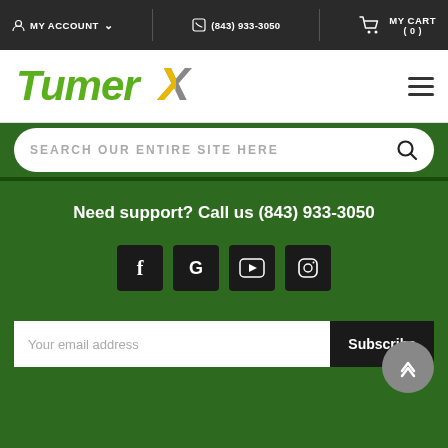MY ACCOUNT | (843) 933-3050 | MY CART (0)
[Figure (logo): TumerX logo in green italic text with stylized X]
SEARCH OUR ENTIRE SITE HERE
Need support? Call us (843) 933-3050
[Figure (infographic): Social media icons: Facebook, Google, YouTube, Instagram]
Your email address
Subscribe